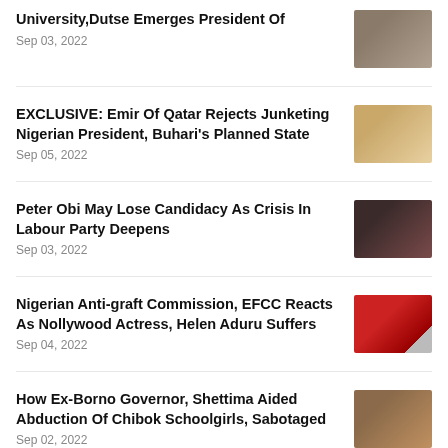University,Dutse Emerges President Of
Sep 03, 2022
EXCLUSIVE: Emir Of Qatar Rejects Junketing Nigerian President, Buhari's Planned State
Sep 05, 2022
Peter Obi May Lose Candidacy As Crisis In Labour Party Deepens
Sep 03, 2022
Nigerian Anti-graft Commission, EFCC Reacts As Nollywood Actress, Helen Aduru Suffers
Sep 04, 2022
How Ex-Borno Governor, Shettima Aided Abduction Of Chibok Schoolgirls, Sabotaged
Sep 02, 2022
Junketing Nigerian Governors, Wike, Makinde, Ortom Back To UK For Talks After
Sep...